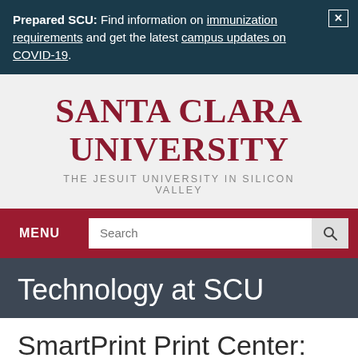Prepared SCU: Find information on immunization requirements and get the latest campus updates on COVID-19.
[Figure (screenshot): Santa Clara University logo with university name in red serif font and tagline 'The Jesuit University in Silicon Valley' in gray uppercase letters]
MENU | Search
Technology at SCU
SmartPrint Print Center: